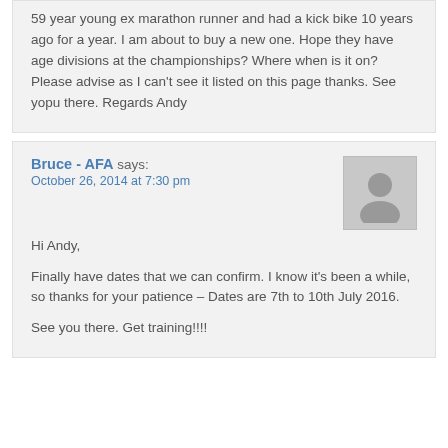59 year young ex marathon runner and had a kick bike 10 years ago for a year. I am about to buy a new one. Hope they have age divisions at the championships? Where when is it on? Please advise as I can't see it listed on this page thanks. See yopu there. Regards Andy
Bruce - AFA says:
October 26, 2014 at 7:30 pm
Hi Andy,
Finally have dates that we can confirm. I know it's been a while, so thanks for your patience – Dates are 7th to 10th July 2016.
See you there. Get training!!!!